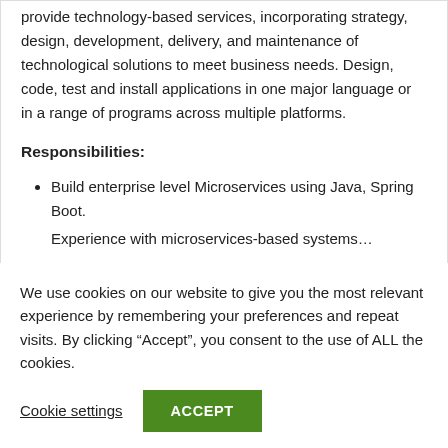provide technology-based services, incorporating strategy, design, development, delivery, and maintenance of technological solutions to meet business needs. Design, code, test and install applications in one major language or in a range of programs across multiple platforms.
Responsibilities:
Build enterprise level Microservices using Java, Spring Boot.
Experience with microservices-based systems...
We use cookies on our website to give you the most relevant experience by remembering your preferences and repeat visits. By clicking “Accept”, you consent to the use of ALL the cookies.
Cookie settings  ACCEPT